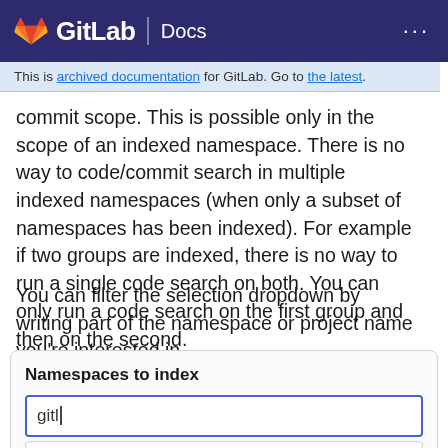GitLab Docs
This is archived documentation for GitLab. Go to the latest.
commit scope. This is possible only in the scope of an indexed namespace. There is no way to code/commit search in multiple indexed namespaces (when only a subset of namespaces has been indexed). For example if two groups are indexed, there is no way to run a single code search on both. You can only run a code search on the first group and then on the second.
You can filter the selection dropdown by writing part of the namespace or project name you're interested in.
[Figure (screenshot): A UI screenshot showing a 'Namespaces to index' input field with 'gitl' typed in it, and a dropdown suggestion showing 'gitlab-org']